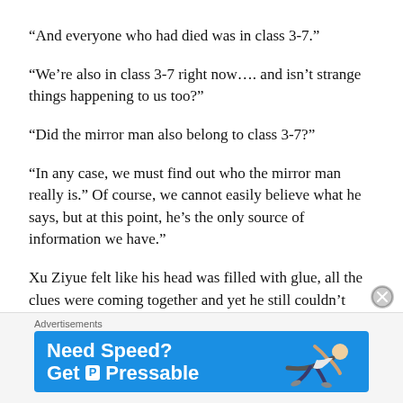“And everyone who had died was in class 3-7.”
“We’re also in class 3-7 right now…. and isn’t strange things happening to us too?”
“Did the mirror man also belong to class 3-7?”
“In any case, we must find out who the mirror man really is.” Of course, we cannot easily believe what he says, but at this point, he’s the only source of information we have.”
Xu Ziyue felt like his head was filled with glue, all the clues were coming together and yet he still couldn’t make out what was happening. At this
[Figure (other): Advertisement banner: 'Need Speed? Get Pressable' with a person flying on blue background]